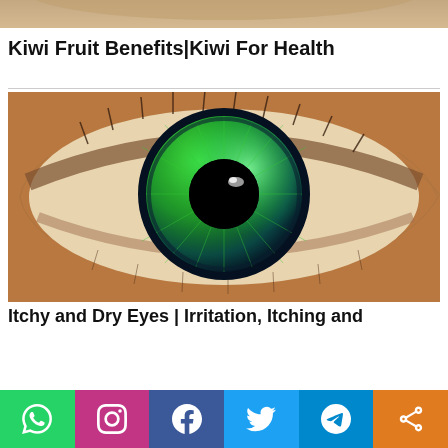[Figure (photo): Partial view of a person's face/shoulder area at the top of the page]
Kiwi Fruit Benefits|Kiwi For Health
[Figure (photo): Close-up macro photograph of a human eye with a striking blue and green iris with detailed patterns]
Itchy and Dry Eyes | Irritation, Itching and
[Figure (infographic): Social media share bar with WhatsApp, Instagram, Facebook, Twitter, Telegram, and Share buttons]